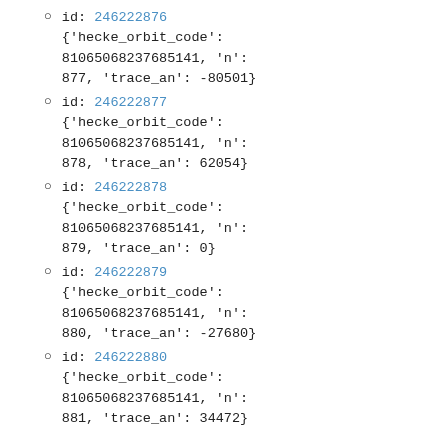id: 246222876
{'hecke_orbit_code': 81065068237685141, 'n': 877, 'trace_an': -80501}
id: 246222877
{'hecke_orbit_code': 81065068237685141, 'n': 878, 'trace_an': 62054}
id: 246222878
{'hecke_orbit_code': 81065068237685141, 'n': 879, 'trace_an': 0}
id: 246222879
{'hecke_orbit_code': 81065068237685141, 'n': 880, 'trace_an': -27680}
id: 246222880
{'hecke_orbit_code': 81065068237685141, 'n': 881, 'trace_an': 34472}